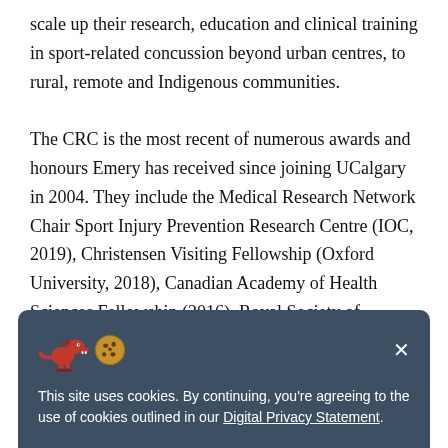scale up their research, education and clinical training in sport-related concussion beyond urban centres, to rural, remote and Indigenous communities.

The CRC is the most recent of numerous awards and honours Emery has received since joining UCalgary in 2004. They include the Medical Research Network Chair Sport Injury Prevention Research Centre (IOC, 2019), Christensen Visiting Fellowship (Oxford University, 2018), Canadian Academy of Health Sciences Fellowship (2016), Royal Society of Canada College of New Scholars (2014), and USA Hockey Excellence in Safety Award (2014)
[Figure (screenshot): Cookie consent banner with a dinosaur and cookie emoji icons, dark blue-grey background. Text reads: 'This site uses cookies. By continuing, you're agreeing to the use of cookies outlined in our Digital Privacy Statement.' with a close X button.]